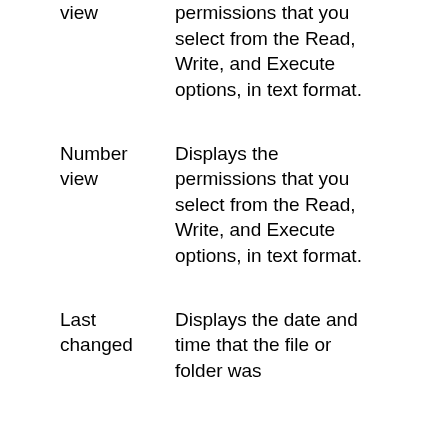view — permissions that you select from the Read, Write, and Execute options, in text format.
Number view — Displays the permissions that you select from the Read, Write, and Execute options, in text format.
Last changed — Displays the date and time that the file or folder was